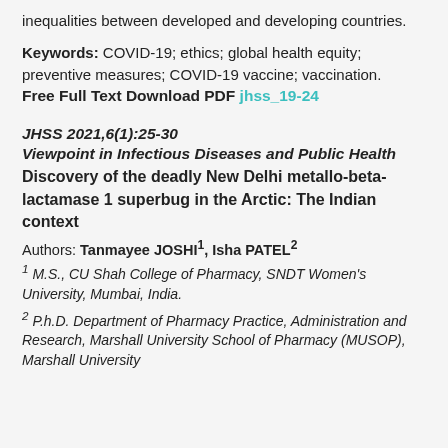inequalities between developed and developing countries.
Keywords: COVID-19; ethics; global health equity; preventive measures; COVID-19 vaccine; vaccination.
Free Full Text Download PDF jhss_19-24
JHSS 2021,6(1):25-30
Viewpoint in Infectious Diseases and Public Health
Discovery of the deadly New Delhi metallo-beta-lactamase 1 superbug in the Arctic: The Indian context
Authors: Tanmayee JOSHI1, Isha PATEL2
1 M.S., CU Shah College of Pharmacy, SNDT Women's University, Mumbai, India.
2 P.h.D. Department of Pharmacy Practice, Administration and Research, Marshall University School of Pharmacy (MUSOP), Marshall University